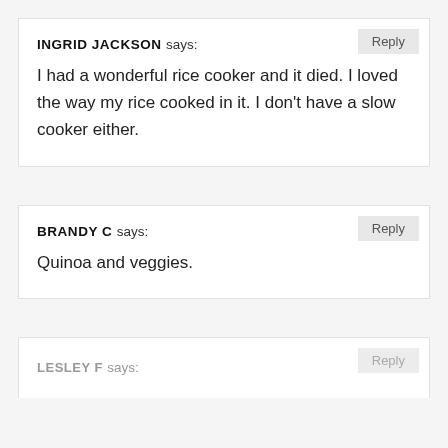INGRID JACKSON says: I had a wonderful rice cooker and it died. I loved the way my rice cooked in it. I don't have a slow cooker either.
BRANDY C says: Quinoa and veggies.
LESLEY F says: